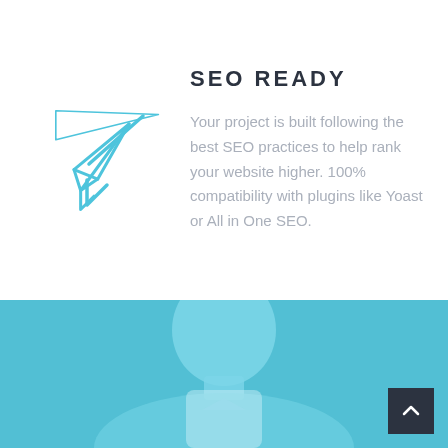[Figure (illustration): Blue paper airplane / send icon outline]
SEO READY
Your project is built following the best SEO practices to help rank your website higher. 100% compatibility with plugins like Yoast or All in One SEO.
[Figure (photo): Blue-tinted photo of a person (head and shoulders visible) forming the bottom section background, with a dark scroll-to-top button in the bottom right corner]